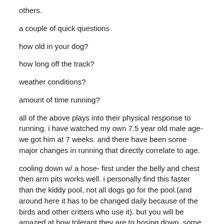others.
a couple of quick questions
how old in your dog?
how long off the track?
weather conditions?
amount of time running?
all of the above plays into their physical response to running. i have watched my own 7.5 year old male age- we got him at 7 weeks. and there have been some major changes in running that directly correlate to age.
cooling down w/ a hose- first under the belly and chest then arm pits works well. i personally find this faster than the kiddy pool, not all dogs go for the pool.(and around here it has to be changed daily because of the birds and other critters who use it). but you will be amazed at how tolerant they are to hosing down. some dogs cool down really fast, others take quite a while, it's like people. it's difficult for me since my male now just can't do